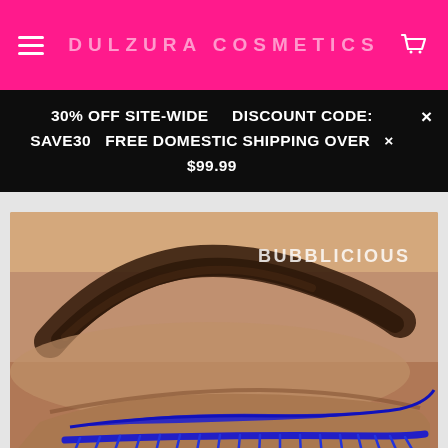DULZURA COSMETICS
30% OFF SITE-WIDE    DISCOUNT CODE: SAVE30   FREE DOMESTIC SHIPPING OVER $99.99
[Figure (photo): Close-up photo of a woman's eye with a bold blue eyeliner and blue false lashes. The eyebrow is well-defined and dark. The text 'BUBBLICIOUS' appears in the upper right area of the image.]